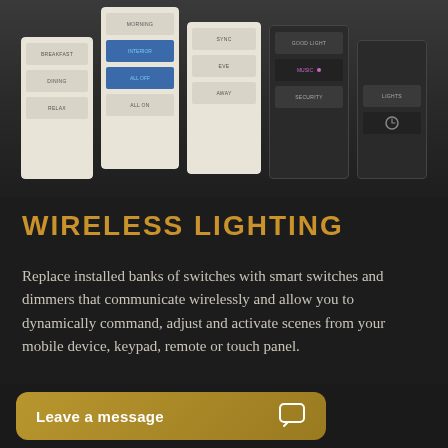[Figure (photo): Product photo showing multiple smart lighting keypads/controllers in light and dark finishes, displayed against a dark background. The keypads have labeled buttons for room/scene control.]
WIRELESS LIGHTING
Replace installed banks of switches with smart switches and dimmers that communicate wirelessly and allow you to dynamically command, adjust and activate scenes from your mobile device, keypad, remote or touch panel.
Leave a message